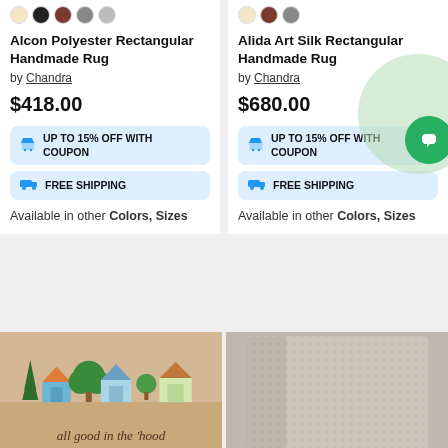Alcon Polyester Rectangular Handmade Rug
by Chandra
$418.00
UP TO 15% OFF WITH COUPON
FREE SHIPPING
Available in other Colors, Sizes
Alida Art Silk Rectangular Handmade Rug
by Chandra
$680.00
UP TO 15% OFF WITH COUPON
FREE SHIPPING
Available in other Colors, Sizes
[Figure (photo): Doormat with houses and trees, text 'all good in the hood']
[Figure (photo): Beige/tan rectangular rug sample]